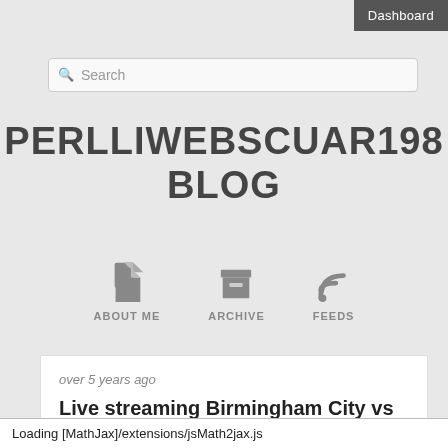Dashboard
Search
PERLLIWEBSCUAR198 BLOG
[Figure (infographic): Navigation icons: ABOUT ME (document icon), ARCHIVE (box icon), FEEDS (RSS icon)]
over 5 years ago
Live streaming Birmingham City vs Reading tv watch
Looking for Watch Online Stream Birmingham v Reading?
Nowhere couldn't find Watch Online Stream Birmingham v
Loading [MathJax]/extensions/jsMath2jax.js